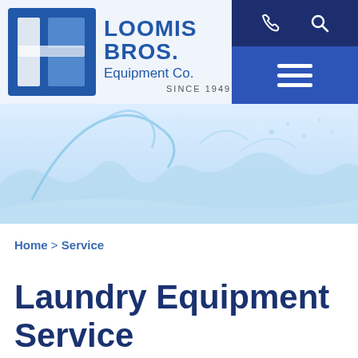[Figure (logo): Loomis Bros. Equipment Co. logo — 'LBE' initials in blue square with 'LOOMIS BROS. Equipment Co. SINCE 1949' text]
[Figure (photo): Water splash photo with light blue water waves on white background, used as a hero banner]
Home > Service
Laundry Equipment Service